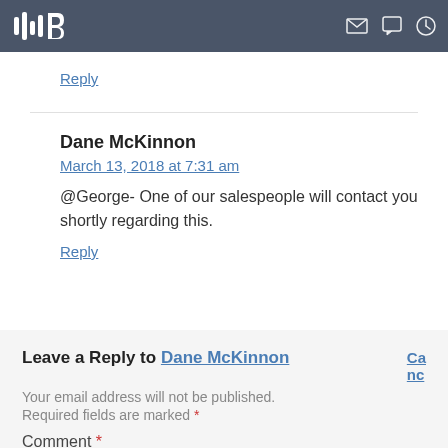[Logo] [mail icon] [chat icon] [clock icon]
Reply
Dane McKinnon
March 13, 2018 at 7:31 am
@George- One of our salespeople will contact you shortly regarding this.
Reply
Leave a Reply to Dane McKinnon Ca nc
Your email address will not be published.
Required fields are marked *
Comment *